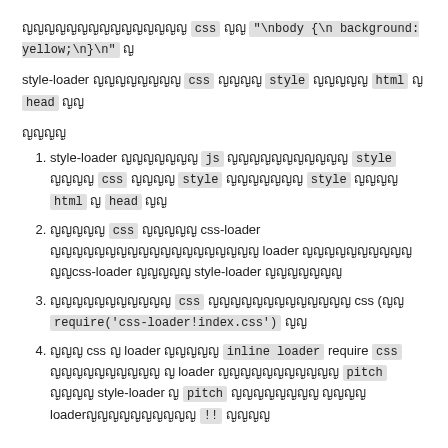ญญญญญญญญญญญญญญญ css ญญ "\nbody {\n background: yellow;\n}\n" ญ
style-loader ญญญญญญญญ css ญญญญ style ญญญญญ html ญ head ญญ
ญญญญ
style-loader ญญญญญญญ js ญญญญญญญญญญญ style ญญญญ css ญญญญ style ญญญญญญญ style ญญญญ html ญ head ญญ
ญญญญญ css ญญญญญ css-loader ญญญญญญญญญญญญญญญญญญญ loader ญญญญญญญญญญ ญญcss-loader ญญญญญ style-loader ญญญญญญญ
ญญญญญญญญญญญ css ญญญญญญญญญญญญญ css (ญญ require('css-loader!index.css') ญญ
ญญญ css ญ loader ญญญญญ inline loader require css ญญญญญญญญญญ ญ loader ญญญญญญญญญญญ pitch ญญญญ style-loader ญ pitch ญญญญญญญญ ญญญญ loaderญญญญญญญญญญ !! ญญญญ